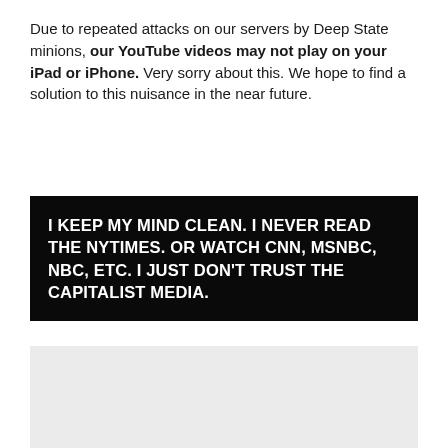Due to repeated attacks on our servers by Deep State minions, our YouTube videos may not play on your iPad or iPhone. Very sorry about this. We hope to find a solution to this nuisance in the near future.
I KEEP MY MIND CLEAN. I NEVER READ THE NYTIMES. OR WATCH CNN, MSNBC, NBC, ETC. I JUST DON'T TRUST THE CAPITALIST MEDIA.
[Figure (other): Gray placeholder box, likely an embedded video or image placeholder]